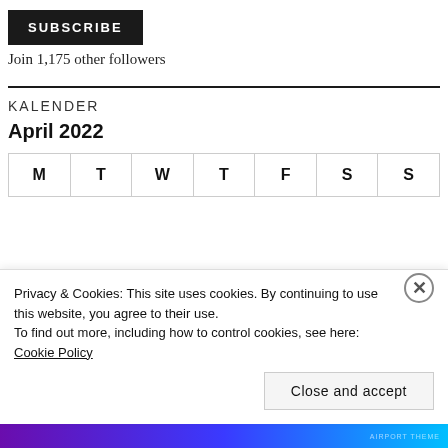SUBSCRIBE
Join 1,175 other followers
KALENDER
April 2022
| M | T | W | T | F | S | S |
| --- | --- | --- | --- | --- | --- | --- |
Privacy & Cookies: This site uses cookies. By continuing to use this website, you agree to their use.
To find out more, including how to control cookies, see here: Cookie Policy
Close and accept